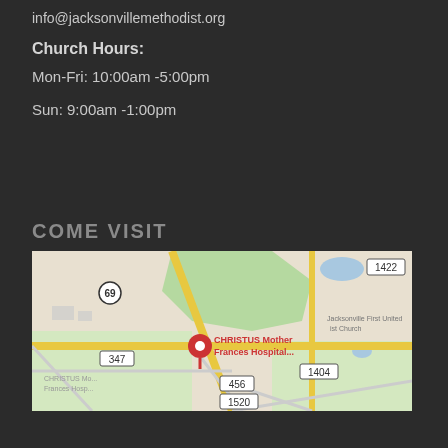info@jacksonvillemethodist.org
Church Hours:
Mon-Fri: 10:00am -5:00pm
Sun: 9:00am -1:00pm
COME VISIT
[Figure (map): Google Maps showing the area around CHRISTUS Mother Frances Hospital in Jacksonville, TX. Roads 69, 347, 456, 1404, 1422, and 1520 are visible. A red hospital marker labeled 'CHRISTUS Mother Frances Hospital...' is shown. Jacksonville First United Methodist Church is visible to the upper right.]